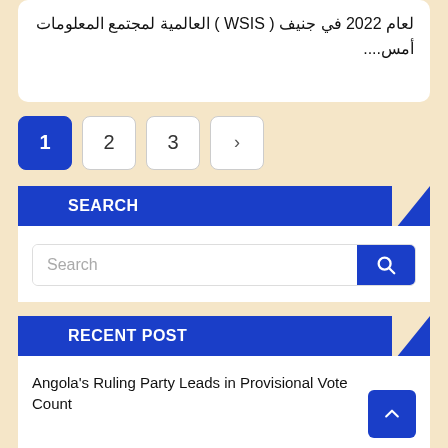لعام 2022 في جنيف ( WSIS ) العالمية لمجتمع المعلومات أمس....
1
2
3
>
SEARCH
Search
RECENT POST
Angola's Ruling Party Leads in Provisional Vote Count